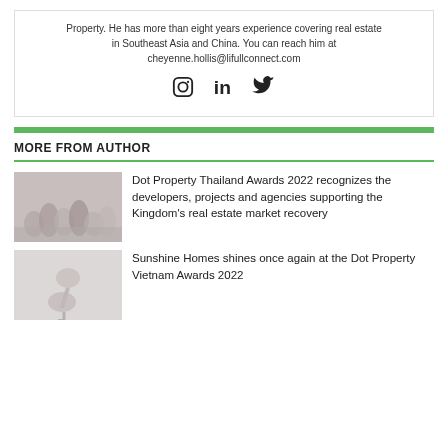Property. He has more than eight years experience covering real estate in Southeast Asia and China. You can reach him at cheyenne.hollis@lifullconnect.com
[Figure (other): Social media icons: Instagram, LinkedIn, Twitter]
MORE FROM AUTHOR
[Figure (photo): Thumbnail image for Dot Property Thailand Awards 2022 article, showing crowd/event scene in muted pink/grey tones]
Dot Property Thailand Awards 2022 recognizes the developers, projects and agencies supporting the Kingdom's real estate market recovery
[Figure (photo): Thumbnail image for Sunshine Homes article, showing a flamingo or bird silhouette in muted tones]
Sunshine Homes shines once again at the Dot Property Vietnam Awards 2022